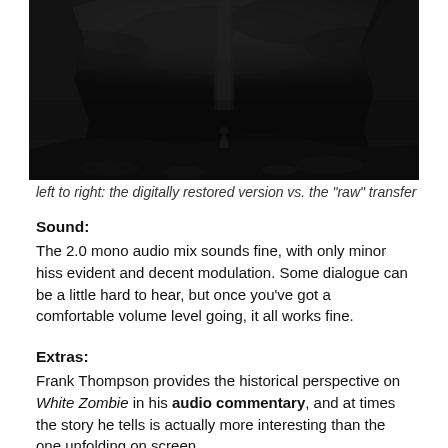[Figure (photo): A dark, moody black-and-white film still showing a lone figure in a cape or cloak standing in a dramatic landscape with tall rocky cliffs and stormy clouds above.]
left to right: the digitally restored version vs. the "raw" transfer
Sound:
The 2.0 mono audio mix sounds fine, with only minor hiss evident and decent modulation. Some dialogue can be a little hard to hear, but once you've got a comfortable volume level going, it all works fine.
Extras:
Frank Thompson provides the historical perspective on White Zombie in his audio commentary, and at times the story he tells is actually more interesting than the one unfolding on screen.